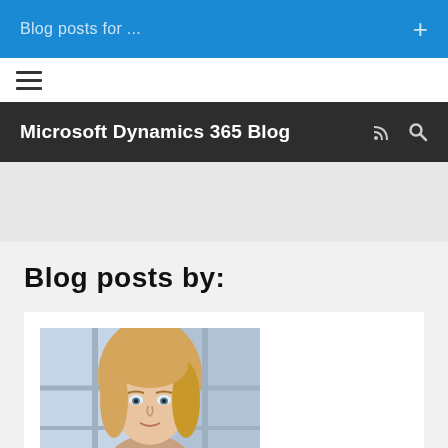Blog posts for ...
Microsoft Dynamics 365 Blog
Blog posts by:
[Figure (photo): Profile photo of a woman with blonde hair, professional headshot]